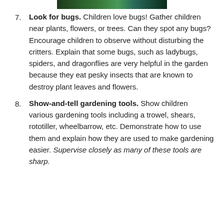[Figure (photo): Partial view of a garden or nature photo at the top of the page]
7. Look for bugs. Children love bugs! Gather children near plants, flowers, or trees. Can they spot any bugs? Encourage children to observe without disturbing the critters. Explain that some bugs, such as ladybugs, spiders, and dragonflies are very helpful in the garden because they eat pesky insects that are known to destroy plant leaves and flowers.
8. Show-and-tell gardening tools. Show children various gardening tools including a trowel, shears, rototiller, wheelbarrow, etc. Demonstrate how to use them and explain how they are used to make gardening easier. Supervise closely as many of these tools are sharp.